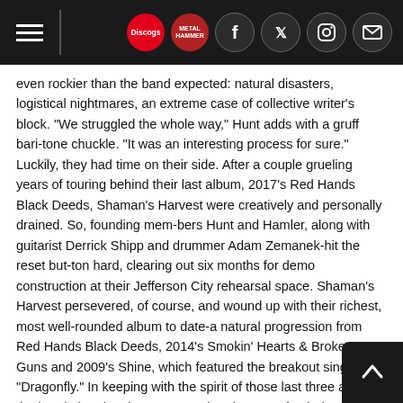Navigation header with hamburger menu, Discogs logo, and social media icons (Facebook, Twitter, Instagram, Mail)
even rockier than the band expected: natural disasters, logistical nightmares, an extreme case of collective writer's block. "We struggled the whole way," Hunt adds with a gruff bari-tone chuckle. "It was an interesting process for sure." Luckily, they had time on their side. After a couple grueling years of touring behind their last album, 2017's Red Hands Black Deeds, Shaman's Harvest were creatively and personally drained. So, founding mem-bers Hunt and Hamler, along with guitarist Derrick Shipp and drummer Adam Zemanek-hit the reset but-ton hard, clearing out six months for demo construction at their Jefferson City rehearsal space. Shaman's Harvest persevered, of course, and wound up with their richest, most well-rounded album to date-a natural progression from Red Hands Black Deeds, 2014's Smokin' Hearts & Broken Guns and 2009's Shine, which featured the breakout single "Dragonfly." In keeping with the spirit of those last three albums, the band aimed to, in Hunt's words, "de-genre-fy" their music-aiming beyond the rote contemporary rock-metal formula to add sublet arrangement quirks. "We were able to stretch our legs a little bit," says Hunt. "We don't want to limit ourselves when we're in the stu-dio." Hamler interjects. "We want to try things or take some chances and find a way to make it work. We're all artists, and nothing destroys art like